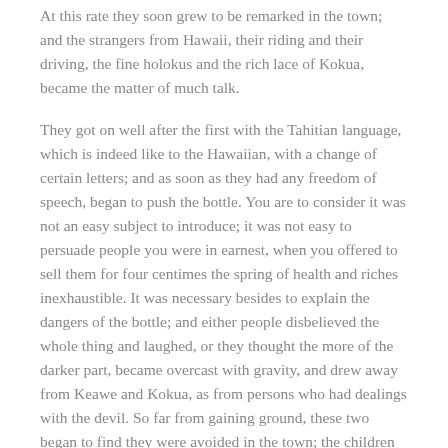At this rate they soon grew to be remarked in the town; and the strangers from Hawaii, their riding and their driving, the fine holokus and the rich lace of Kokua, became the matter of much talk.
They got on well after the first with the Tahitian language, which is indeed like to the Hawaiian, with a change of certain letters; and as soon as they had any freedom of speech, began to push the bottle. You are to consider it was not an easy subject to introduce; it was not easy to persuade people you were in earnest, when you offered to sell them for four centimes the spring of health and riches inexhaustible. It was necessary besides to explain the dangers of the bottle; and either people disbelieved the whole thing and laughed, or they thought the more of the darker part, became overcast with gravity, and drew away from Keawe and Kokua, as from persons who had dealings with the devil. So far from gaining ground, these two began to find they were avoided in the town; the children ran away from them screaming, a thing intolerable to Kokua; Catholics crossed themselves as they went by; and all persons began with one accord to disengage themselves from their advances.